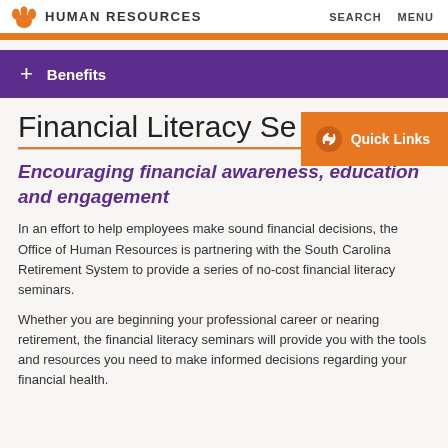HUMAN RESOURCES  SEARCH  MENU
+ Benefits
Financial Literacy Series
[Figure (other): Quick Links button with chain link icon]
Encouraging financial awareness, education and engagement
In an effort to help employees make sound financial decisions, the Office of Human Resources is partnering with the South Carolina Retirement System to provide a series of no-cost financial literacy seminars.
Whether you are beginning your professional career or nearing retirement, the financial literacy seminars will provide you with the tools and resources you need to make informed decisions regarding your financial health.